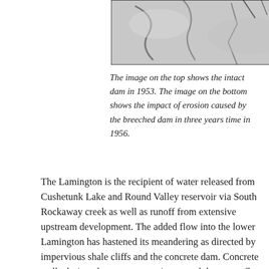[Figure (photo): Aerial/satellite photograph of a dam area, showing landscape features in grayscale, cropped at top of page.]
The image on the top shows the intact dam in 1953. The image on the bottom shows the impact of erosion caused by the breeched dam in three years time in 1956.
The Lamington is the recipient of water released from Cushetunk Lake and Round Valley reservoir via South Rockaway creek as well as runoff from extensive upstream development. The added flow into the lower Lamington has hastened its meandering as directed by impervious shale cliffs and the concrete dam. Concrete walls designed to prevent erosion, speed the streamflow...